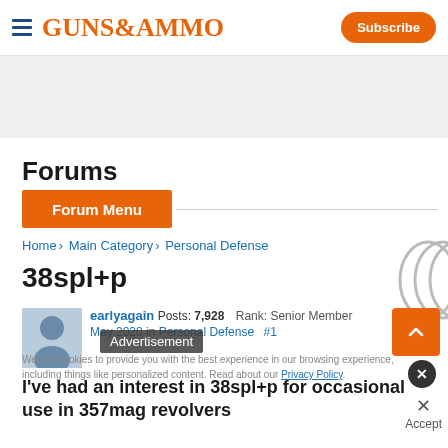GUNS&AMMO  Subscribe
[Figure (other): Gray advertisement banner area]
Forums
Forum Menu
Home › Main Category › Personal Defense
38spl+p
[Figure (photo): User avatar photo of earlyagain]
earlyagain  Posts: 7,928   Rank: Senior Member
May 2020  in Personal Defense  #1
Advertisement
We use cookies to provide you with the best experience in our browsing experience, including things like personalized content. Read about our Privacy Policy.
I've had an interest in 38spl+p for occasional use in 357mag revolvers